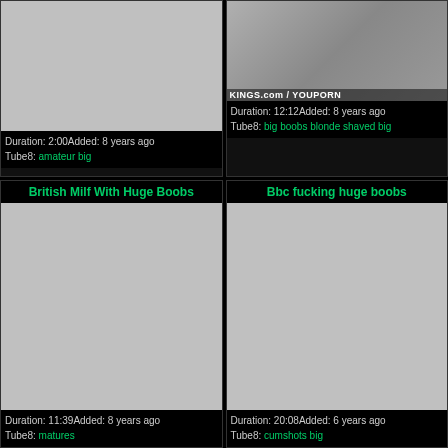[Figure (screenshot): Video thumbnail placeholder (grey) for first card top-left, partially visible, clipped at top]
Duration: 2:00Added: 8 years ago
Tube8: amateur big
[Figure (photo): Video thumbnail top-right showing partial image with KINGS.com / YOUPORN watermark]
Duration: 12:12Added: 8 years ago
Tube8: big boobs blonde shaved big
British Milf With Huge Boobs
[Figure (screenshot): Video thumbnail placeholder (grey) for British Milf With Huge Boobs]
Duration: 11:39Added: 8 years ago
Tube8: matures
Bbc fucking huge boobs
[Figure (screenshot): Video thumbnail placeholder (grey) for Bbc fucking huge boobs]
Duration: 20:08Added: 6 years ago
Tube8: cumshots big